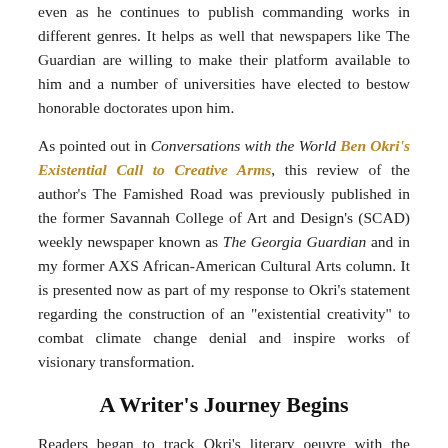even as he continues to publish commanding works in different genres. It helps as well that newspapers like The Guardian are willing to make their platform available to him and a number of universities have elected to bestow honorable doctorates upon him.
As pointed out in Conversations with the World Ben Okri's Existential Call to Creative Arms, this review of the author's The Famished Road was previously published in the former Savannah College of Art and Design's (SCAD) weekly newspaper known as The Georgia Guardian and in my former AXS African-American Cultural Arts column. It is presented now as part of my response to Okri's statement regarding the construction of an "existential creativity" to combat climate change denial and inspire works of visionary transformation.
A Writer's Journey Begins
Readers began to track Okri's literary oeuvre with the publication of his first novel, Flowers and Shadows in 1980, and he kept their attention after publishing The Landscapes